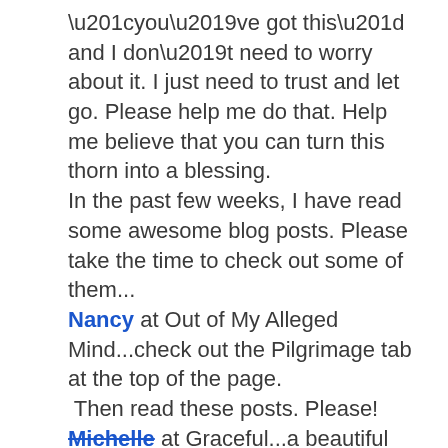“you’ve got this” and I don’t need to worry about it.  I just need to trust and let go.  Please help me do that.  Help me believe that you can turn this thorn into a blessing.
In the past few weeks, I have read some awesome blog posts.  Please take the time to check out some of them...
Nancy at Out of My Alleged Mind...check out the Pilgrimage tab at the top of the page.  Then read these posts.  Please!
Michelle at Graceful...a beautiful post about listening.
Stefanie at UpLIFTing Words...an lovely post on forgiveness.
Logan at the Allume blog...just today reminds us to enjoy the JOURNEY...not just race to the top.